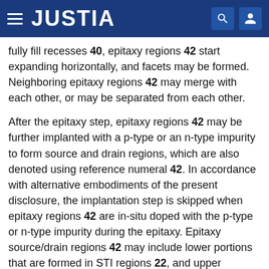JUSTIA
fully fill recesses 40, epitaxy regions 42 start expanding horizontally, and facets may be formed. Neighboring epitaxy regions 42 may merge with each other, or may be separated from each other.
After the epitaxy step, epitaxy regions 42 may be further implanted with a p-type or an n-type impurity to form source and drain regions, which are also denoted using reference numeral 42. In accordance with alternative embodiments of the present disclosure, the implantation step is skipped when epitaxy regions 42 are in-situ doped with the p-type or n-type impurity during the epitaxy. Epitaxy source/drain regions 42 may include lower portions that are formed in STI regions 22, and upper portions that are formed over the top surfaces of STI regions 22.